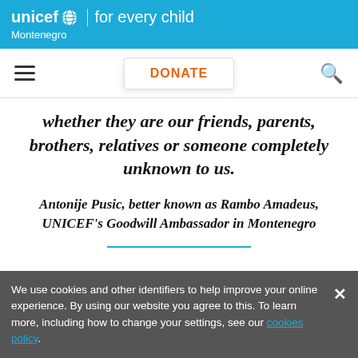unicef for every child | Montenegro
[Figure (screenshot): Navigation bar with hamburger menu, DONATE button, and search icon]
whether they are our friends, parents, brothers, relatives or someone completely unknown to us.
Antonije Pusic, better known as Rambo Amadeus, UNICEF's Goodwill Ambassador in Montenegro
We use cookies and other identifiers to help improve your online experience. By using our website you agree to this. To learn more, including how to change your settings, see our cookies policy.